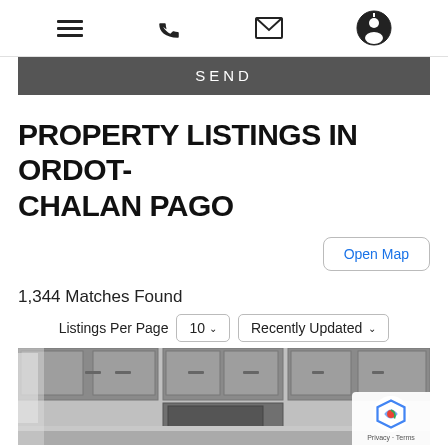Navigation bar with menu, phone, email, and user icons
SEND
PROPERTY LISTINGS IN ORDOT-CHALAN PAGO
Open Map
1,344 Matches Found
Listings Per Page  10  Recently Updated
[Figure (photo): Kitchen interior with grey cabinets]